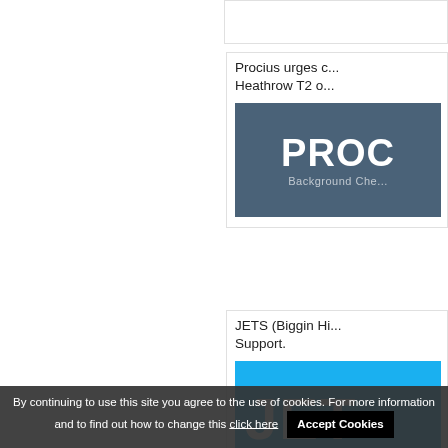Procius urges c... Heathrow T2 o...
[Figure (logo): Procius logo with text 'PROC' and 'Background Che...' on a dark blue-grey background]
JETS (Biggin Hi... Support.
[Figure (logo): JETS logo in white bold text on bright blue background]
By continuing to use this site you agree to the use of cookies. For more information and to find out how to change this click here   Accept Cookies